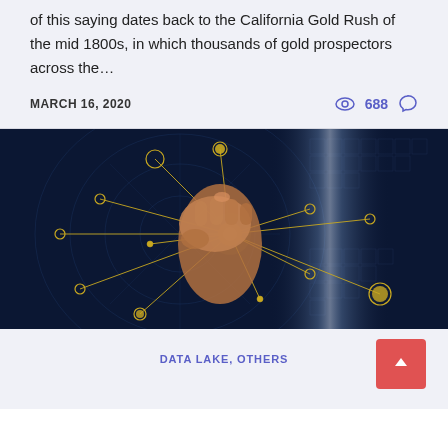of this saying dates back to the California Gold Rush of the mid 1800s, in which thousands of gold prospectors across the…
MARCH 16, 2020   688
[Figure (photo): Dark blue background with a fist pointing forward, overlaid with a golden network/node diagram with connecting lines and circles, and a blurred light pillar in the center-right.]
DATA LAKE, OTHERS